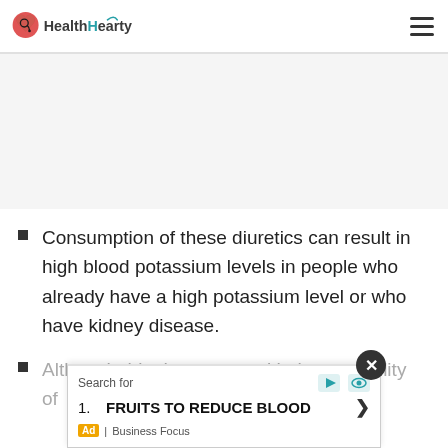HealthHearty
Consumption of these diuretics can result in high blood potassium levels in people who already have a high potassium level or who have kidney disease.
Although this does away with the possibility of ... one
[Figure (screenshot): Ad overlay: Search for FRUITS TO REDUCE BLOOD, Business Focus advertisement with close button]